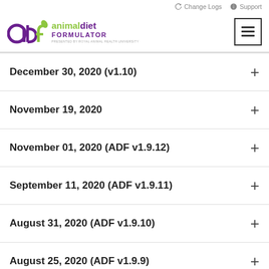Change Logs  Support
[Figure (logo): Animal Diet Formulator (ADF) logo with stylized 'adf' letters in purple and green, followed by 'animaldiet FORMULATOR' text and 'Presented by Royal Animal Health University' tagline]
December 30, 2020 (v1.10)
November 19, 2020
November 01, 2020 (ADF v1.9.12)
September 11, 2020 (ADF v1.9.11)
August 31, 2020 (ADF v1.9.10)
August 25, 2020 (ADF v1.9.9)